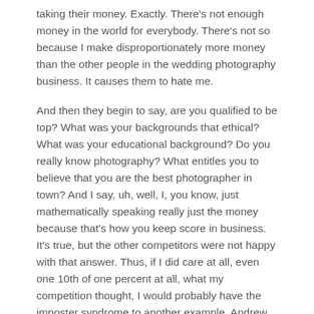taking their money. Exactly. There's not enough money in the world for everybody. There's not so because I make disproportionately more money than the other people in the wedding photography business. It causes them to hate me.
And then they begin to say, are you qualified to be top? What was your backgrounds that ethical? What was your educational background? Do you really know photography? What entitles you to believe that you are the best photographer in town? And I say, uh, well, I, you know, just mathematically speaking really just the money because that's how you keep score in business. It's true, but the other competitors were not happy with that answer. Thus, if I did care at all, even one 10th of one percent at all, what my competition thought, I would probably have the imposter syndrome to another example, Andrew just today there's a person on our team and one of our companies is doing a great job. John and I recognized he's doing a great job, right? So when we promote that person, what do you think is going to happen as a result of wanting to promote somebody?